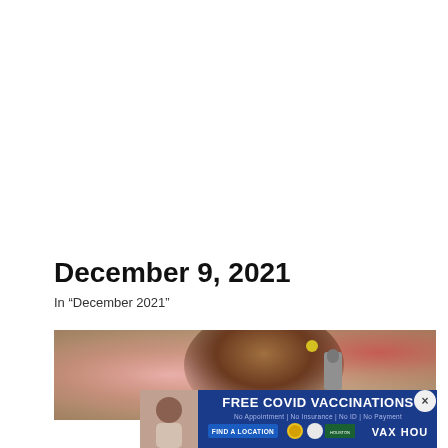December 9, 2021
In “December 2021”
[Figure (photo): A person holding a microphone near a furry mascot or animal, with blurred street background, pink and red bokeh lights]
[Figure (infographic): Advertisement banner: FREE COVID VACCINATIONS. No Appointment | No Insurance | No ID | No Payment. FIND A LOCATION. VAX HOU branding with Houston Health and other logos. Photo of a woman on the left side.]